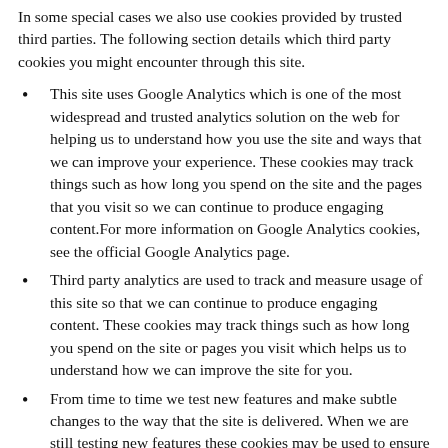In some special cases we also use cookies provided by trusted third parties. The following section details which third party cookies you might encounter through this site.
This site uses Google Analytics which is one of the most widespread and trusted analytics solution on the web for helping us to understand how you use the site and ways that we can improve your experience. These cookies may track things such as how long you spend on the site and the pages that you visit so we can continue to produce engaging content.For more information on Google Analytics cookies, see the official Google Analytics page.
Third party analytics are used to track and measure usage of this site so that we can continue to produce engaging content. These cookies may track things such as how long you spend on the site or pages you visit which helps us to understand how we can improve the site for you.
From time to time we test new features and make subtle changes to the way that the site is delivered. When we are still testing new features these cookies may be used to ensure that you receive a consistent